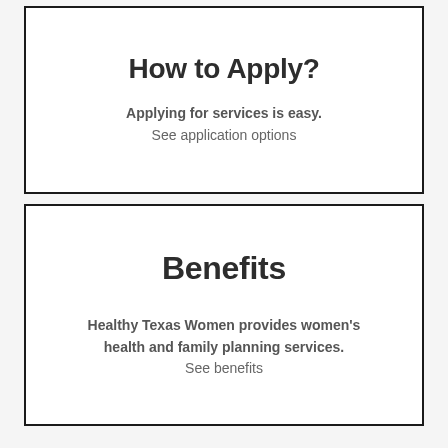How to Apply?
Applying for services is easy.
See application options
Benefits
Healthy Texas Women provides women's health and family planning services.
See benefits